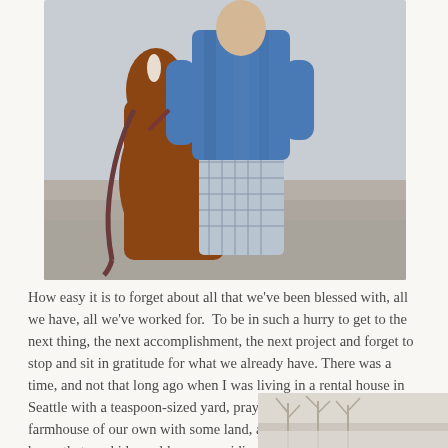[Figure (photo): A person in a blue denim shirt and plaid pants hugging a brown horse or foal with a dark red rope lead, outdoors with blurred background.]
How easy it is to forget about all that we've been blessed with, all we have, all we've worked for.  To be in such a hurry to get to the next thing, the next accomplishment, the next project and forget to stop and sit in gratitude for what we already have. There was a time, and not that long ago when I was living in a rental house in Seattle with a teaspoon-sized yard, praying so hard for an old farmhouse of our own with some land, a big old barn, and a sweet horse that my kids could grow up riding. I could see it all so clearly in my mind, I begged God to help us make it happen.
[Figure (photo): Partial bottom-right photo showing outdoor winter or pale scene, partially cropped.]